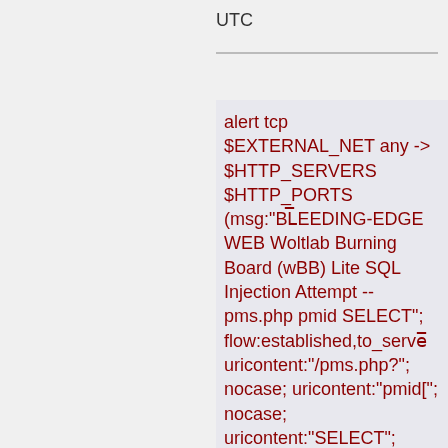UTC
alert tcp $EXTERNAL_NET any -> $HTTP_SERVERS $HTTP_PORTS (msg:"BLEEDING-EDGE WEB Woltlab Burning Board (wBB) Lite SQL Injection Attempt -- pms.php pmid SELECT"; flow:established,to_server; uricontent:"/pms.php?"; nocase; uricontent:"pmid["; nocase; uricontent:"SELECT"; nocase;